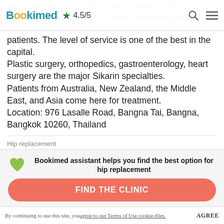Bookimed ★ 4.5/5
Sikarin Hospital is a top Thai medical center located in Bangkok. The hospital is set to serve international patients. The level of service is one of the best in the capital.
Plastic surgery, orthopedics, gastroenterology, heart surgery are the major Sikarin specialties.
Patients from Australia, New Zealand, the Middle East, and Asia come here for treatment.
Location: 976 Lasalle Road, Bangna Tai, Bangna, Bangkok 10260, Thailand
Hip replacement
Price on request
Bookimed assistant helps you find the best option for hip replacement
FIND THE CLINIC
By continuing to use this site, you agree to our Terms of Use cookie-files. AGREE